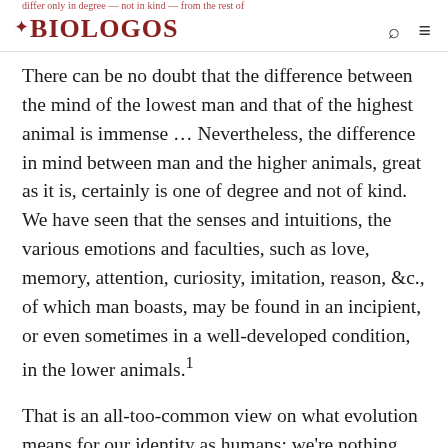BioLogos
There can be no doubt that the difference between the mind of the lowest man and that of the highest animal is immense … Nevertheless, the difference in mind between man and the higher animals, great as it is, certainly is one of degree and not of kind. We have seen that the senses and intuitions, the various emotions and faculties, such as love, memory, attention, curiosity, imitation, reason, &c., of which man boasts, may be found in an incipient, or even sometimes in a well-developed condition, in the lower animals.¹
That is an all-too-common view on what evolution means for our identity as humans: we're nothing but